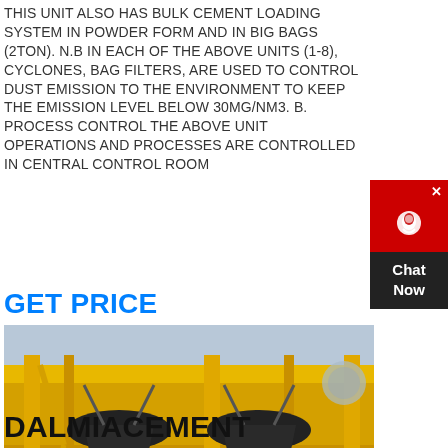THIS UNIT ALSO HAS BULK CEMENT LOADING SYSTEM IN POWDER FORM AND IN BIG BAGS (2TON). N.B IN EACH OF THE ABOVE UNITS (1-8), CYCLONES, BAG FILTERS, ARE USED TO CONTROL DUST EMISSION TO THE ENVIRONMENT TO KEEP THE EMISSION LEVEL BELOW 30MG/NM3. B. PROCESS CONTROL THE ABOVE UNIT OPERATIONS AND PROCESSES ARE CONTROLLED IN CENTRAL CONTROL ROOM
GET PRICE
[Figure (photo): Industrial cement plant machinery: yellow steel framework with large black cone crusher units with red accents mounted on elevated platform]
DALMIACEMENT